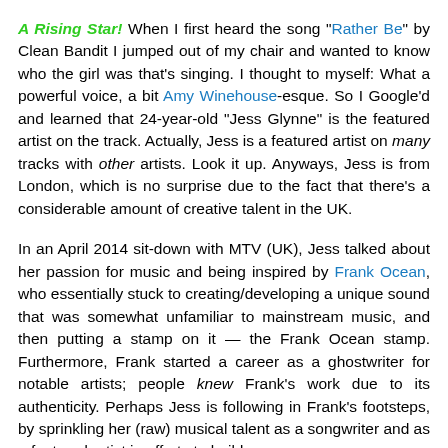A Rising Star! When I first heard the song "Rather Be" by Clean Bandit I jumped out of my chair and wanted to know who the girl was that's singing. I thought to myself: What a powerful voice, a bit Amy Winehouse-esque. So I Google'd and learned that 24-year-old "Jess Glynne" is the featured artist on the track. Actually, Jess is a featured artist on many tracks with other artists. Look it up. Anyways, Jess is from London, which is no surprise due to the fact that there's a considerable amount of creative talent in the UK.
In an April 2014 sit-down with MTV (UK), Jess talked about her passion for music and being inspired by Frank Ocean, who essentially stuck to creating/developing a unique sound that was somewhat unfamiliar to mainstream music, and then putting a stamp on it — the Frank Ocean stamp. Furthermore, Frank started a career as a ghostwriter for notable artists; people knew Frank's work due to its authenticity. Perhaps Jess is following in Frank's footsteps, by sprinkling her (raw) musical talent as a songwriter and as a featured artist in efforts to build a